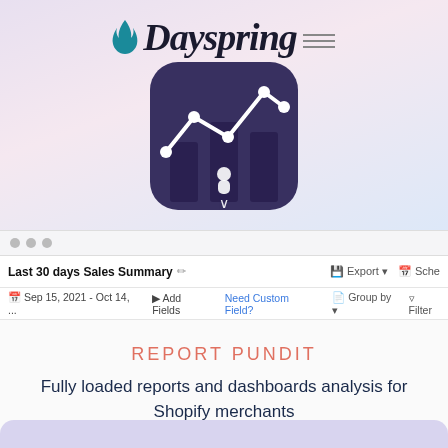[Figure (logo): Dayspring logo with italic serif text and a teal flame icon, alongside a dark purple rounded-square app icon featuring a line chart over bar chart graphic]
Last 30 days Sales Summary / Export Sche
Sep 15, 2021 - Oct 14, ... Add Fields Need Custom Field? Group by Filter
REPORT PUNDIT
Fully loaded reports and dashboards analysis for Shopify merchants